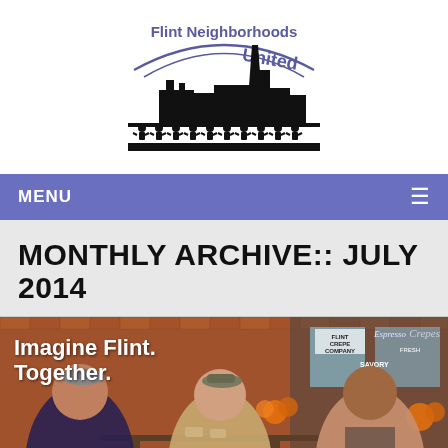[Figure (logo): Flint Neighborhoods United logo: black silhouette of city skyline with people holding hands along the bottom, arched text reading 'Flint Neighborhoods United' in blue/purple]
MENU
MONTHLY ARCHIVE:: JULY 2014
[Figure (photo): Three men sitting at an outdoor table in front of Flint Crepe Company. Text overlay reads 'Imagine Flint. Together.' Signs visible: 'Crepes', 'SAVORY', 'FLINT CREPE COMPANY', 'Espresso', 'FRESH']